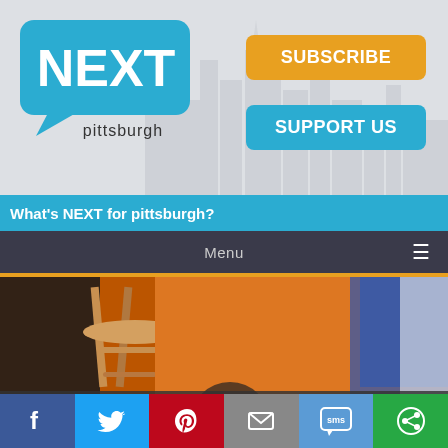[Figure (logo): NEXT pittsburgh logo - speech bubble in blue with NEXT in white bold text and 'pittsburgh' in dark text below]
SUBSCRIBE
SUPPORT US
What's NEXT for pittsburgh?
Menu
[Figure (photo): Photo of people at Gus and Yia Yia's Icy Ball stand in Allegheny Commons on the Northside, showing a wooden stool and orange equipment]
Fun stop at Gus and Yia Yia's Icy Ball stand in Allegheny Commons on the Northside. Photo by Erica Gidley.
[Figure (infographic): Social sharing bar with Facebook, Twitter, Pinterest, Email, SMS, and share icons]